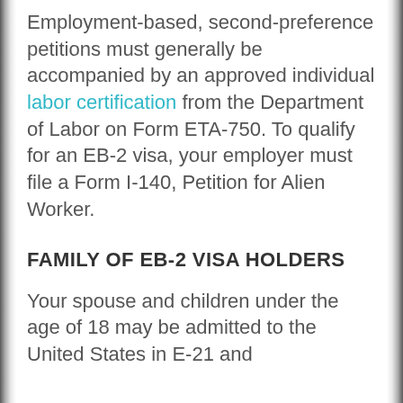Employment-based, second-preference petitions must generally be accompanied by an approved individual labor certification from the Department of Labor on Form ETA-750. To qualify for an EB-2 visa, your employer must file a Form I-140, Petition for Alien Worker.
FAMILY OF EB-2 VISA HOLDERS
Your spouse and children under the age of 18 may be admitted to the United States in E-21 and